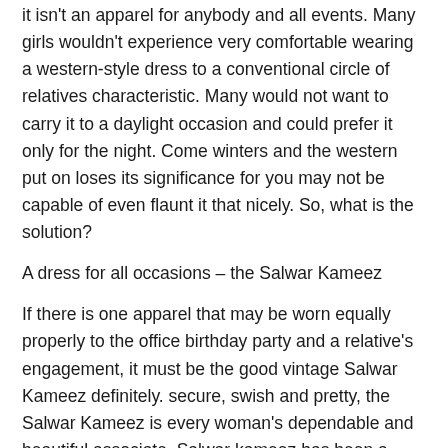it isn't an apparel for anybody and all events. Many girls wouldn't experience very comfortable wearing a western-style dress to a conventional circle of relatives characteristic. Many would not want to carry it to a daylight occasion and could prefer it only for the night. Come winters and the western put on loses its significance for you may not be capable of even flaunt it that nicely. So, what is the solution?
A dress for all occasions – the Salwar Kameez
If there is one apparel that may be worn equally properly to the office birthday party and a relative's engagement, it must be the good vintage Salwar Kameez definitely. secure, swish and pretty, the Salwar Kameez is every woman's dependable and beautiful associate. Salwar kameez has been a long-standing traditional outfit. As more and more fabrics have come into the Indian market, like georgette and chiffon. Therefore, salwar kameez in nice flowy georgette is a